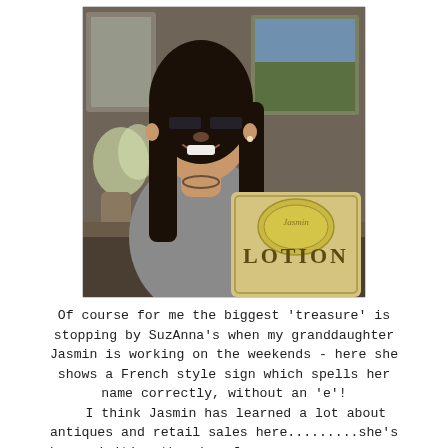[Figure (photo): A young woman with dark hair and glasses smiling and holding up a vintage yellow sign that reads 'LOTION' in large letters. She is standing in what appears to be an antique shop with mirrors, flowers, and paintings visible in the background.]
Of course for me the biggest 'treasure' is stopping by SuzAnna's when my granddaughter Jasmin is working on the weekends - here she shows a French style sign which spells her name correctly, without an 'e'!
   I think Jasmin has learned a lot about antiques and retail sales here.........she's been visiting the shop from a very young age when Susie first opened, and she's been employed for over a year.....such a great